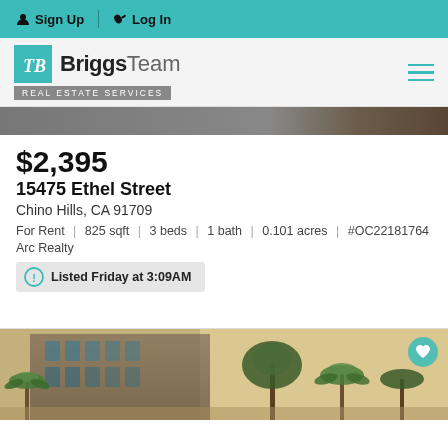Sign Up | Log In
[Figure (logo): BriggsTeam Real Estate Services logo with teal TB icon]
[Figure (photo): Partial property exterior photo strip at top]
$2,395
15475 Ethel Street
Chino Hills, CA 91709
For Rent | 825 sqft | 3 beds | 1 bath | 0.101 acres | #OC22181764
Arc Realty
Listed Friday at 3:09AM
[Figure (photo): Property exterior photo showing building with palm trees and evening sky]